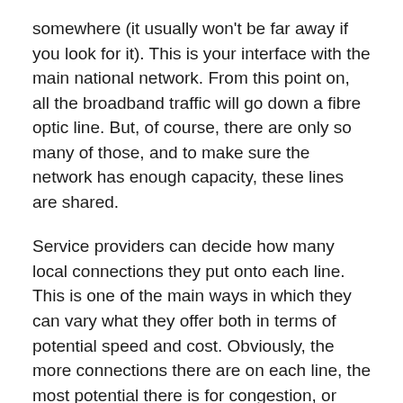somewhere (it usually won't be far away if you look for it). This is your interface with the main national network. From this point on, all the broadband traffic will go down a fibre optic line. But, of course, there are only so many of those, and to make sure the network has enough capacity, these lines are shared.
Service providers can decide how many local connections they put onto each line. This is one of the main ways in which they can vary what they offer both in terms of potential speed and cost. Obviously, the more connections there are on each line, the most potential there is for congestion, or 'contention' as it's called in the broadband world.
Basically, business services will have fewer shared connections and, therefore, less potential for contention and higher levels of guaranteed